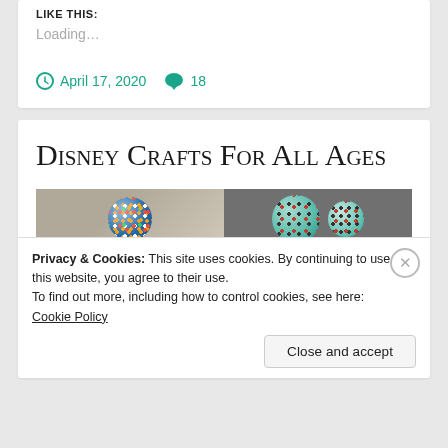LIKE THIS:
Loading...
April 17, 2020   18
Disney Crafts For All Ages
[Figure (photo): Two colorful Disney ornament balls side by side]
Privacy & Cookies: This site uses cookies. By continuing to use this website, you agree to their use.
To find out more, including how to control cookies, see here: Cookie Policy
Close and accept